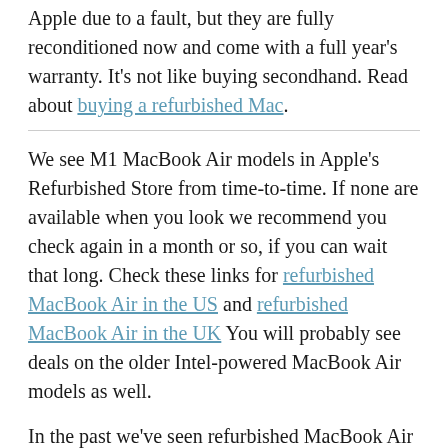Apple due to a fault, but they are fully reconditioned now and come with a full year's warranty. It's not like buying secondhand. Read about buying a refurbished Mac.
We see M1 MacBook Air models in Apple's Refurbished Store from time-to-time. If none are available when you look we recommend you check again in a month or so, if you can wait that long. Check these links for refurbished MacBook Air in the US and refurbished MacBook Air in the UK You will probably see deals on the older Intel-powered MacBook Air models as well.
In the past we've seen refurbished MacBook Air (8-core CPU, 8-Core GPU, 512GB SSD, RRP $1,249/£1,249) discounted to £1,059/$1,059. That's a saving of £190/$190 on Apple's usual price. Keep an